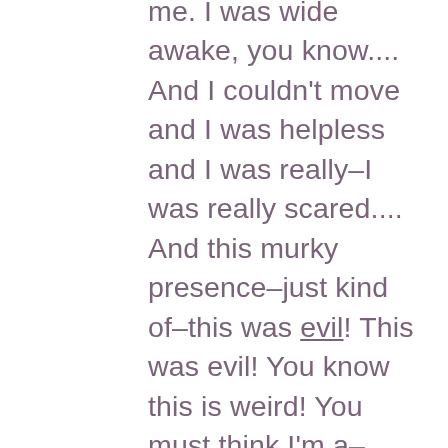me.  I was wide awake, you know.... And I couldn't move and I was helpless and I was really–I was really scared.... And this murky presence–just kind of–this was evil!  This was evil!  You know this is weird!  You must think I'm a–.... This thing was there!  I felt a pressure on me and it was like enveloping me.  It was a very, very, very strange thing.  And as I remember I struggled.  I struggled to move and get out.  And–you